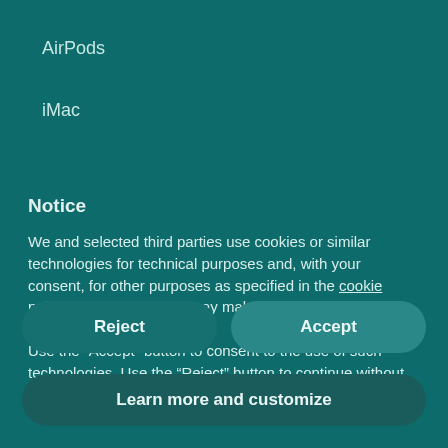AirPods
iMac
Notice
We and selected third parties use cookies or similar technologies for technical purposes and, with your consent, for other purposes as specified in the cookie policy. Denying consent may make related features unavailable.
Use the “Accept” button to consent to the use of such technologies. Use the “Reject” button to continue without accepting.
Reject
Accept
Learn more and customize